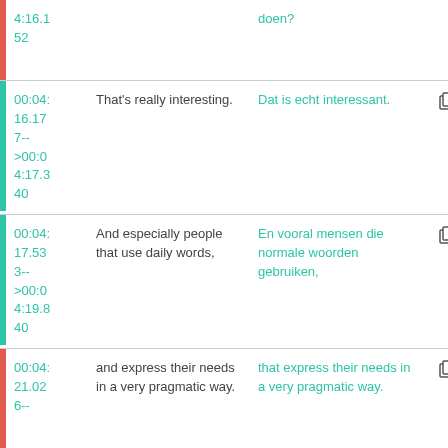| Bar | Time | English | Dutch | Icons |
| --- | --- | --- | --- | --- |
| red | 4:16.1
52 |  | doen? |  |
| teal | 00:04:16.17
7--
>00:04:17.340 | That's really interesting. | Dat is echt interessant. | copy, refresh |
| teal | 00:04:17.533--
>00:04:19.840 | And especially people that use daily words, | En vooral mensen die normale woorden gebruiken, | copy, refresh |
| red | 00:04:21.026-- | and express their needs in a very pragmatic way. | that express their needs in a very pragmatic way. | copy, refresh |